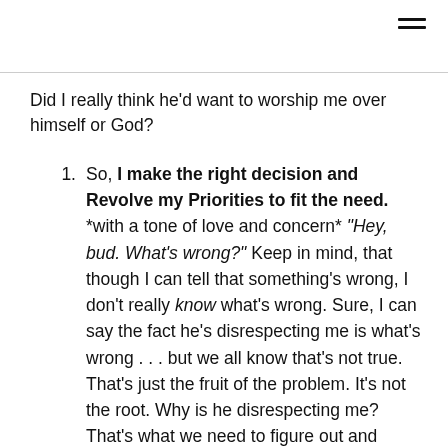Did I really think he’d want to worship me over himself or God?
So, I make the right decision and Revolve my Priorities to fit the need. *with a tone of love and concern* “Hey, bud. What’s wrong?” Keep in mind, that though I can tell that something’s wrong, I don’t really know what’s wrong. Sure, I can say the fact he’s disrespecting me is what’s wrong . . . but we all know that’s not true. That’s just the fruit of the problem. It’s not the root. Why is he disrespecting me? That’s what we need to figure out and address. Any time we